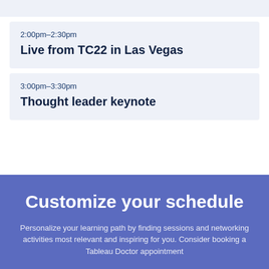2:00pm–2:30pm
Live from TC22 in Las Vegas
3:00pm–3:30pm
Thought leader keynote
Customize your schedule
Personalize your learning path by finding sessions and networking activities most relevant and inspiring for you. Consider booking a Tableau Doctor appointment